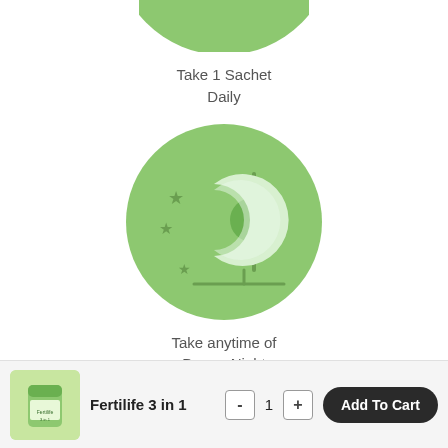[Figure (illustration): Bottom crop of a green circular icon (sachet/packet icon) from previous section]
Take 1 Sachet
Daily
[Figure (illustration): Green circle with day/night icon: crescent moon (white/light blue) and sun rays, with stars, on green background]
Take anytime of
Day or Night
[Figure (illustration): Bottom crop of another green circular icon (third step icon), partially visible]
[Figure (photo): Small product thumbnail of Fertilife 3 in 1 supplement container]
Fertilife 3 in 1
- 1 + Add To Cart